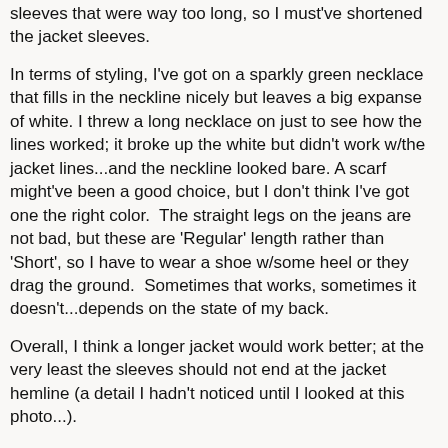sleeves that were way too long, so I must've shortened the jacket sleeves.
In terms of styling, I've got on a sparkly green necklace that fills in the neckline nicely but leaves a big expanse of white. I threw a long necklace on just to see how the lines worked; it broke up the white but didn't work w/the jacket lines...and the neckline looked bare. A scarf might've been a good choice, but I don't think I've got one the right color.  The straight legs on the jeans are not bad, but these are 'Regular' length rather than 'Short', so I have to wear a shoe w/some heel or they drag the ground.  Sometimes that works, sometimes it doesn't...depends on the state of my back.
Overall, I think a longer jacket would work better; at the very least the sleeves should not end at the jacket hemline (a detail I hadn't noticed until I looked at this photo...).
The jacket itself is made from a very attractive fabric and usually gets compliments.  I think it's going into the 'keep until replaced' category.
Lisa Laree at 8:27 PM    No comments: